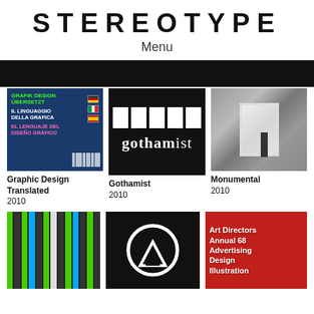STEREOTYPE
Menu
[Figure (screenshot): Black navigation bar]
[Figure (photo): Book cover: Grafik Design Ubersetzt / Il Linguaggio della Grafica / El Lenguaje del Diseño Grafico, dark blue cover with multilingual text]
Graphic Design Translated
2010
[Figure (logo): Gothamist logo - white rectangular blocks above white 'gothamist' text on black background]
Gothamist
2010
[Figure (photo): Monumental - outdoor installation photo showing large illuminated box with person standing beside it, city skyline in background]
Monumental
2010
[Figure (photo): Abstract green and black striped pattern design]
[Figure (logo): Black background with white circle containing a white trapezoid/table shape]
[Figure (photo): Art Directors Annual 68 - Advertising Design Illustration book cover, red background with text]